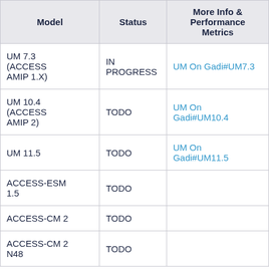| Model | Status | More Info & Performance Metrics |
| --- | --- | --- |
| UM 7.3 (ACCESS AMIP 1.X) | IN PROGRESS | UM On Gadi#UM7.3 |
| UM 10.4 (ACCESS AMIP 2) | TODO | UM On Gadi#UM10.4 |
| UM 11.5 | TODO | UM On Gadi#UM11.5 |
| ACCESS-ESM 1.5 | TODO |  |
| ACCESS-CM 2 | TODO |  |
| ACCESS-CM 2 N48 | TODO |  |